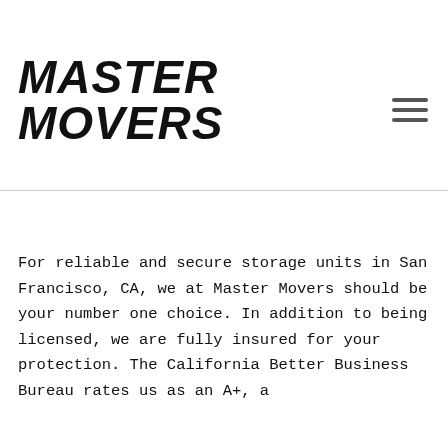[Figure (logo): Master Movers logo — bold italic black uppercase text reading MASTER MOVERS]
For reliable and secure storage units in San Francisco, CA, we at Master Movers should be your number one choice. In addition to being licensed, we are fully insured for your protection. The California Better Business Bureau rates us as an A+, a